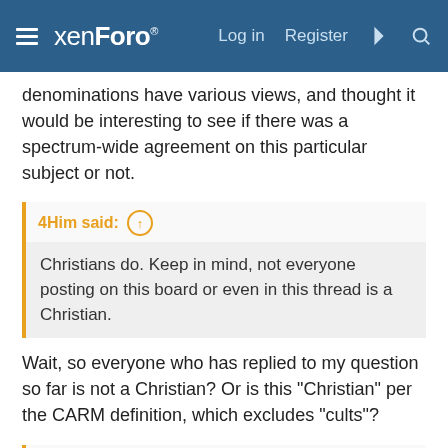xenForo — Log in  Register
denominations have various views, and thought it would be interesting to see if there was a spectrum-wide agreement on this particular subject or not.
4Him said: ↑ Christians do. Keep in mind, not everyone posting on this board or even in this thread is a Christian.
Wait, so everyone who has replied to my question so far is not a Christian? Or is this "Christian" per the CARM definition, which excludes "cults"?
4Him said: ↑ Which brings me back to why do you actually care?
I answered that. I don't care. I'm merely interested. Again, is that wrong? Is it impossible to conceive that a person would merely be interested in a certain subject? Here's another real example